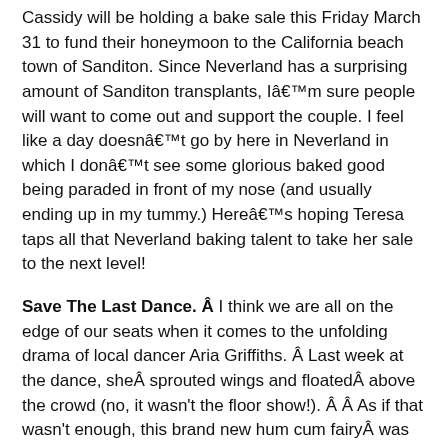Cassidy will be holding a bake sale this Friday March 31 to fund their honeymoon to the California beach town of Sanditon. Since Neverland has a surprising amount of Sanditon transplants, Iâ€™m sure people will want to come out and support the couple. I feel like a day doesnâ€™t go by here in Neverland in which I donâ€™t see some glorious baked good being paraded in front of my nose (and usually ending up in my tummy.) Hereâ€™s hoping Teresa taps all that Neverland baking talent to take her sale to the next level!
Save The Last Dance. Â  I think we are all on the edge of our seats when it comes to the unfolding drama of local dancer Aria Griffiths. Â Last week at the dance, sheÂ sprouted wings and floatedÂ above the crowd (no, it wasn't the floor show!). Â Â As if that wasn't enough, this brand new hum cum fairyÂ was immediately thrown into a love triangle involving her longtime flameÂ Charlie Hunter and new dance partner Andy Chambers. Â Word has it that Charlie has decided to transfer back to Neverland U…guess this triangle is now a hypotenuse.